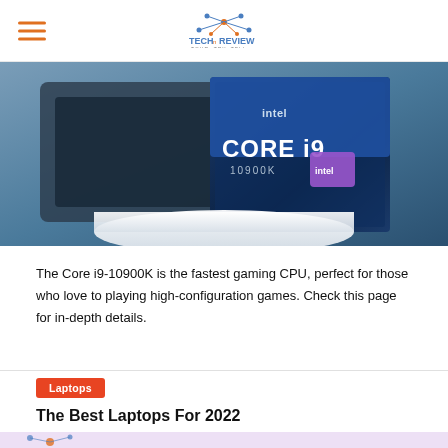TechReview — Tour, Try, Tell
[Figure (photo): Intel Core i9 processor box on a white pedestal platform against a blue background]
The Core i9-10900K is the fastest gaming CPU, perfect for those who love to playing high-configuration games. Check this page for in-depth details.
Laptops
The Best Laptops For 2022
13 Days Ago
[Figure (photo): Partial image of a laptop/tech article thumbnail at the bottom of the page]